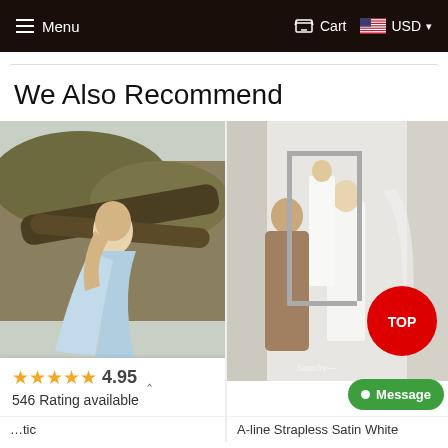Menu  Cart  USD
We Also Recommend
[Figure (photo): Woman in light blue flowing dress sitting in a tree outdoors]
[Figure (photo): Bride being fitted in a white A-line strapless satin dress, with TOP badge overlay]
⭐⭐⭐⭐⭐ 4.95  546 Rating available
A-line Strapless Satin White